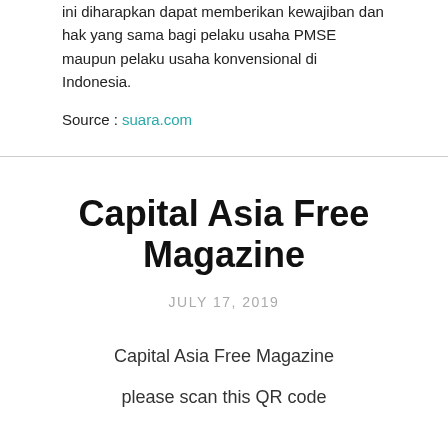ini diharapkan dapat memberikan kewajiban dan hak yang sama bagi pelaku usaha PMSE maupun pelaku usaha konvensional di Indonesia.
Source : suara.com
Capital Asia Free Magazine
JULY 17, 2019
Capital Asia Free Magazine
please scan this QR code